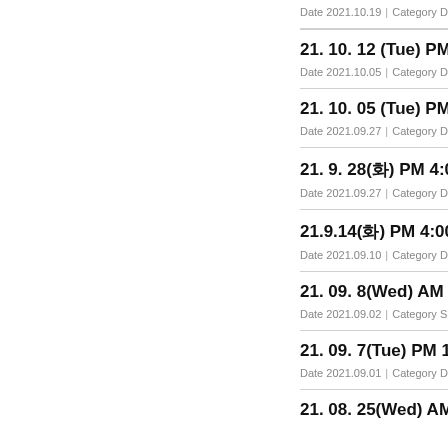Date 2021.10.19 | Category De...
21. 10. 12 (Tue) PM 4... | Date 2021.10.05 | Category De...
21. 10. 05 (Tue) PM 4... | Date 2021.09.27 | Category De...
21. 9. 28(화) PM 4:00~... | Date 2021.09.27 | Category De...
21.9.14(화) PM 4:00~, ... | Date 2021.09.10 | Category De...
21. 09. 8(Wed) AM 10... | Date 2021.09.02 | Category Sp...
21. 09. 7(Tue) PM 16... | Date 2021.09.01 | Category De...
21. 08. 25(Wed) AM...